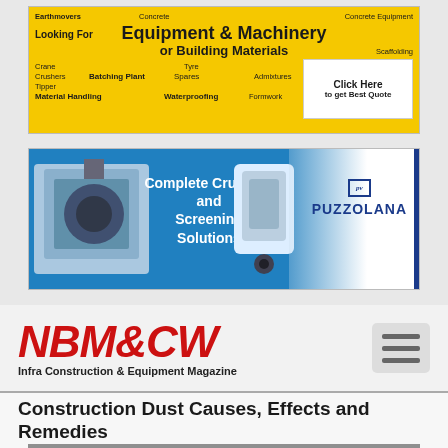[Figure (infographic): Yellow banner advertisement: 'Looking For Equipment & Machinery or Building Materials — Click Here to get Best Quote' with construction-related keywords like Earthmovers, Concrete, Cranes, Crushers, Batching Plant, Tipper, Material Handling, Tyre, Spares, Waterproofing, Admixtures, Formwork, Concrete Equipment, Scaffolding, Precast]
[Figure (infographic): Blue banner advertisement for Puzzolana: 'Complete Crushing and Screening Solutions' with machinery images and Puzzolana brand logo]
[Figure (logo): NBM&CW — Infra Construction & Equipment Magazine logo in red italic bold text with hamburger menu icon]
Construction Dust Causes, Effects and Remedies
[Figure (photo): Construction site photo with workers amid heavy dust, machinery visible in background]